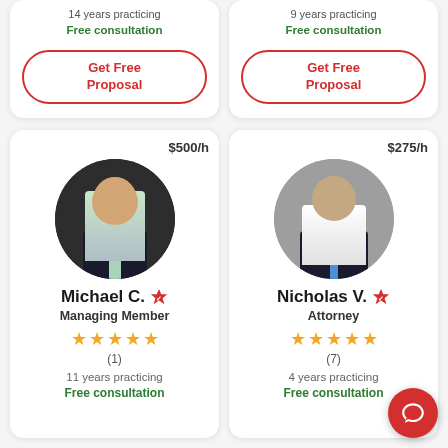14 years practicing
Free consultation
Get Free Proposal
9 years practicing
Free consultation
Get Free Proposal
[Figure (photo): Headshot of Michael C., a man in a dark suit with a light tie, circular crop]
$500/h
Michael C. [verified badge]
Managing Member
★★★★★ (1)
11 years practicing
Free consultation
[Figure (photo): Headshot of Nicholas V., a young man in a dark suit with a blue tie, circular crop]
$275/h
Nicholas V. [verified badge]
Attorney
★★★★★ (7)
4 years practicing
Free consultation